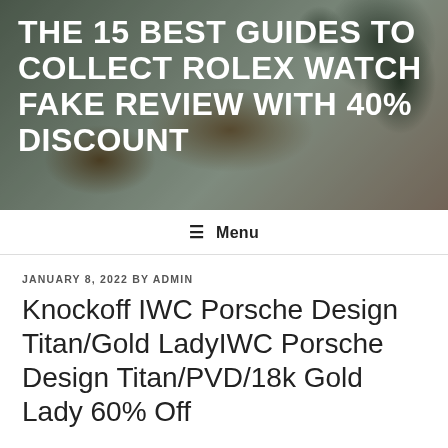[Figure (photo): Website header banner with blurred background photo of a potted plant on a wooden table. Dark overlay with bold white uppercase title text.]
THE 15 BEST GUIDES TO COLLECT ROLEX WATCH FAKE REVIEW WITH 40% DISCOUNT
≡ Menu
JANUARY 8, 2022 BY ADMIN
Knockoff IWC Porsche Design Titan/Gold LadyIWC Porsche Design Titan/PVD/18k Gold Lady 60% Off
Knockoff IWC Porsche Design